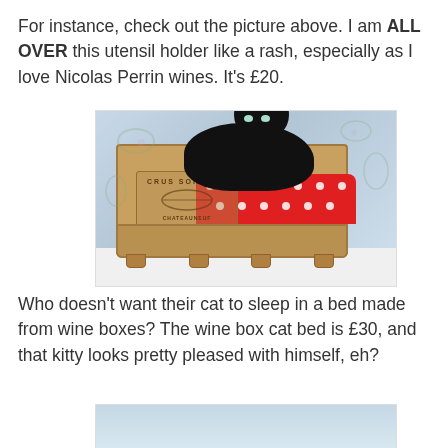For instance, check out the picture above. I am ALL OVER this utensil holder like a rash, especially as I love Nicolas Perrin wines. It's £20.
[Figure (photo): A black cat lying in a wooden wine box crate used as a cat bed, with a red polka dot cushion inside, against a floral wallpaper background.]
Who doesn't want their cat to sleep in a bed made from wine boxes? The wine box cat bed is £30, and that kitty looks pretty pleased with himself, eh?
[Figure (photo): Partial view of another photo at the bottom of the page, showing a floral/light background.]